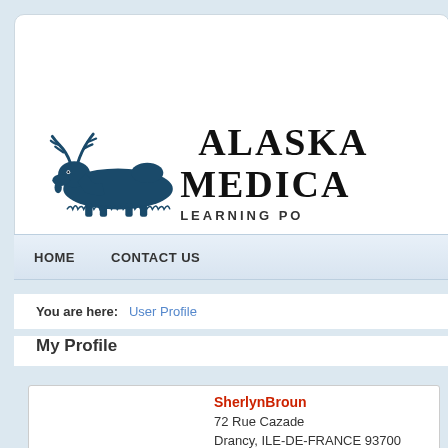[Figure (logo): Alaska Medical Learning Portal logo with moose illustration and text 'ALASKA MEDICA' and 'LEARNING PO' (partially visible)]
HOME   CONTACT US
You are here:   User Profile
My Profile
SherlynBroun
72 Rue Cazade
Drancy, ILE-DE-FRANCE 93700
France